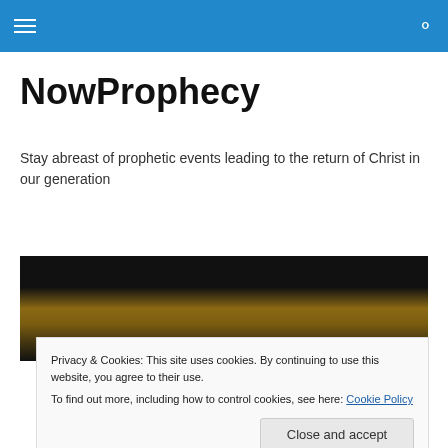NowProphecy — site navigation header
NowProphecy
Stay abreast of prophetic events leading to the return of Christ in our generation
[Figure (photo): Dark featured image with warm golden/orange tones, partially visible, appears to show people or a crowd scene with a partially visible text label at bottom right]
Privacy & Cookies: This site uses cookies. By continuing to use this website, you agree to their use.
To find out more, including how to control cookies, see here: Cookie Policy
Close and accept